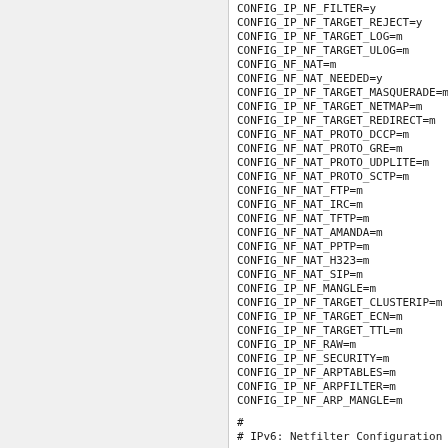CONFIG_IP_NF_FILTER=y
CONFIG_IP_NF_TARGET_REJECT=y
CONFIG_IP_NF_TARGET_LOG=m
CONFIG_IP_NF_TARGET_ULOG=m
CONFIG_NF_NAT=m
CONFIG_NF_NAT_NEEDED=y
CONFIG_IP_NF_TARGET_MASQUERADE=m
CONFIG_IP_NF_TARGET_NETMAP=m
CONFIG_IP_NF_TARGET_REDIRECT=m
CONFIG_NF_NAT_PROTO_DCCP=m
CONFIG_NF_NAT_PROTO_GRE=m
CONFIG_NF_NAT_PROTO_UDPLITE=m
CONFIG_NF_NAT_PROTO_SCTP=m
CONFIG_NF_NAT_FTP=m
CONFIG_NF_NAT_IRC=m
CONFIG_NF_NAT_TFTP=m
CONFIG_NF_NAT_AMANDA=m
CONFIG_NF_NAT_PPTP=m
CONFIG_NF_NAT_H323=m
CONFIG_NF_NAT_SIP=m
CONFIG_IP_NF_MANGLE=m
CONFIG_IP_NF_TARGET_CLUSTERIP=m
CONFIG_IP_NF_TARGET_ECN=m
CONFIG_IP_NF_TARGET_TTL=m
CONFIG_IP_NF_RAW=m
CONFIG_IP_NF_SECURITY=m
CONFIG_IP_NF_ARPTABLES=m
CONFIG_IP_NF_ARPFILTER=m
CONFIG_IP_NF_ARP_MANGLE=m
#
# IPv6: Netfilter Configuration